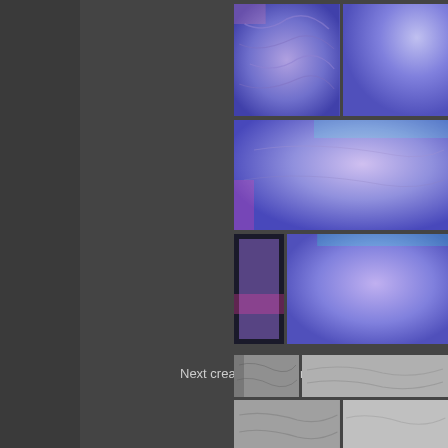[Figure (illustration): Normal map textures showing purple-blue tiled stone/rock surfaces with colored lighting, displayed in a grid of 5 image panels on the right side of the page]
Next create a height map:
[Figure (illustration): Height map textures showing grayscale tiled stone/rock surfaces, displayed in a grid of 4 image panels at the bottom right of the page]